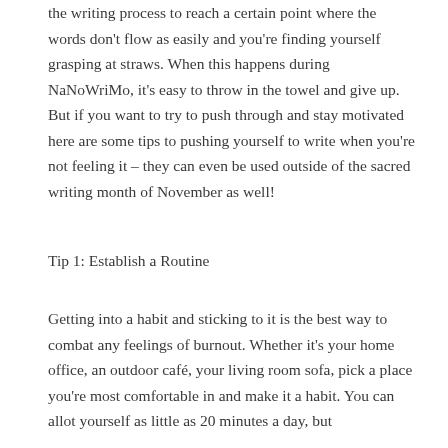the writing process to reach a certain point where the words don't flow as easily and you're finding yourself grasping at straws. When this happens during NaNoWriMo, it's easy to throw in the towel and give up. But if you want to try to push through and stay motivated here are some tips to pushing yourself to write when you're not feeling it – they can even be used outside of the sacred writing month of November as well!
Tip 1: Establish a Routine
Getting into a habit and sticking to it is the best way to combat any feelings of burnout. Whether it's your home office, an outdoor café, your living room sofa, pick a place you're most comfortable in and make it a habit. You can allot yourself as little as 20 minutes a day, but